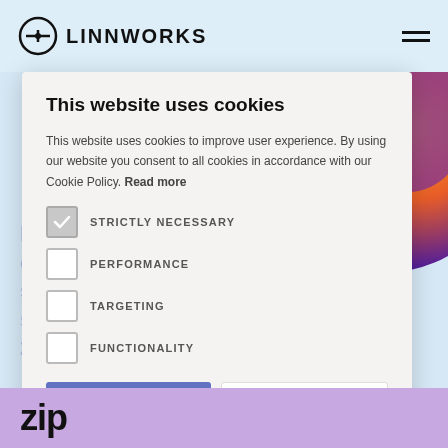LINNWORKS
[Figure (screenshot): Linnworks website screenshot showing cookie consent modal overlay on top of a webpage with colorful background graphic and partial headline text 'Buy Now, Pay Later: Global insights & consumer strategy for your ecommerce strategy 2022']
This website uses cookies
This website uses cookies to improve user experience. By using our website you consent to all cookies in accordance with our Cookie Policy. Read more
STRICTLY NECESSARY
PERFORMANCE
TARGETING
FUNCTIONALITY
ACCEPT ALL
DECLINE ALL
SHOW DETAILS